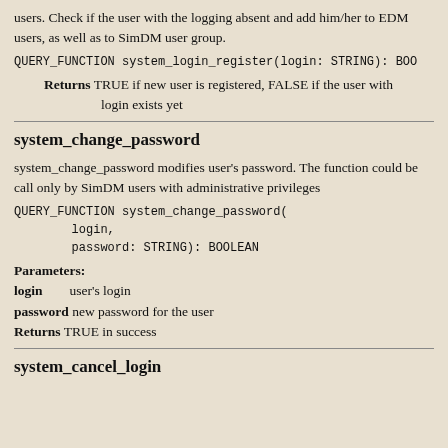users. Check if the user with the logging absent and add him/her to EDM users, as well as to SimDM user group.
QUERY_FUNCTION system_login_register(login: STRING): BOO
Returns TRUE if new user is registered, FALSE if the user with login exists yet
system_change_password
system_change_password modifies user's password. The function could be call only by SimDM users with administrative privileges
QUERY_FUNCTION system_change_password(
        login,
        password: STRING): BOOLEAN
Parameters:
login    user's login
password new password for the user
Returns TRUE in success
system_cancel_login